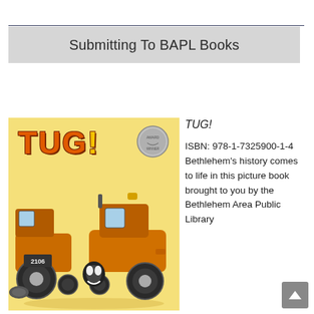Submitting To BAPL Books
TUG!
by Catherine McCafferty
[Figure (illustration): Book cover of TUG! showing an orange cartoon tractor on a yellow background with the title TUG! in bold orange letters and an award medal in the upper right corner]
TUG!

ISBN: 978-1-7325900-1-4 Bethlehem's history comes to life in this picture book brought to you by the Bethlehem Area Public Library